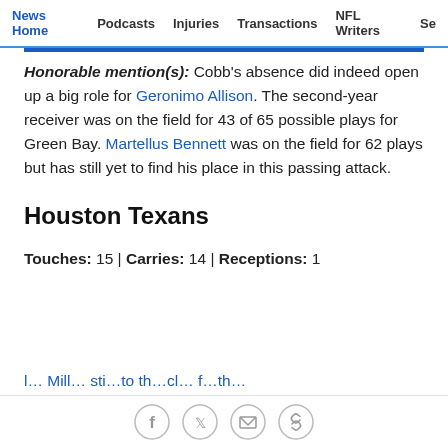News Home | Podcasts | Injuries | Transactions | NFL Writers | Se
Honorable mention(s): Cobb's absence did indeed open up a big role for Geronimo Allison. The second-year receiver was on the field for 43 of 65 possible plays for Green Bay. Martellus Bennett was on the field for 62 plays but has still yet to find his place in this passing attack.
Houston Texans
Touches: 15 | Carries: 14 | Receptions: 1